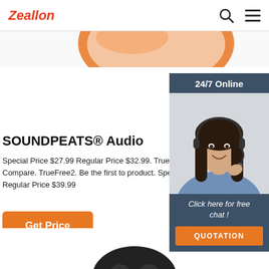Zeallon
[Figure (photo): Partial view of orange SOUNDPEATS headphones against white background]
SOUNDPEATS® Audio
Special Price $27.99 Regular Price $32.99. TrueFre stock. Wishlist Compare. TrueFree2. Be the first to product. Special Price $32.99 Regular Price $39.99
[Figure (photo): 24/7 Online live chat widget showing a female customer service agent wearing a headset, with 'Click here for free chat!' text and a QUOTATION button]
Get Price
[Figure (photo): Partial view of dark SOUNDPEATS earbuds at bottom of page]